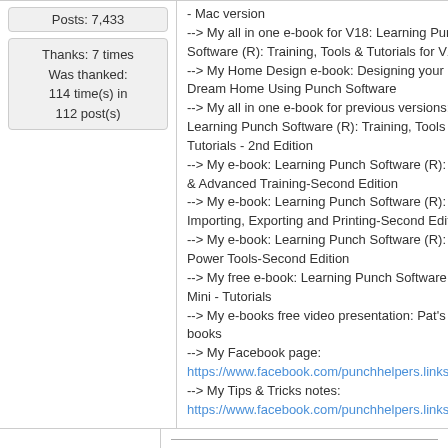Posts: 7,433
Thanks: 7 times
Was thanked:
114 time(s) in
112 post(s)
- Mac version
--> My all in one e-book for V18: Learning Punch Software (R): Training, Tools & Tutorials for V18
--> My Home Design e-book: Designing your Dream Home Using Punch Software
--> My all in one e-book for previous versions: Learning Punch Software (R): Training, Tools & Tutorials - 2nd Edition
--> My e-book: Learning Punch Software (R): Basic & Advanced Training-Second Edition
--> My e-book: Learning Punch Software (R): Importing, Exporting and Printing-Second Edition
--> My e-book: Learning Punch Software (R): Power Tools-Second Edition
--> My free e-book: Learning Punch Software (R): Mini - Tutorials
--> My e-books free video presentation: Pat's e-books
--> My Facebook page:
https://www.facebook.com/punchhelpers.links
--> My Tips & Tricks notes:
https://www.facebook.com/punchhelpers.links/notes
Patricia G.- Forum Moderator
My Website: Punchhelpers
My Facebook page: Punchhelpers on Facebook
My eBooks: Pat's eBooks
My Store: Punchhelpers Store